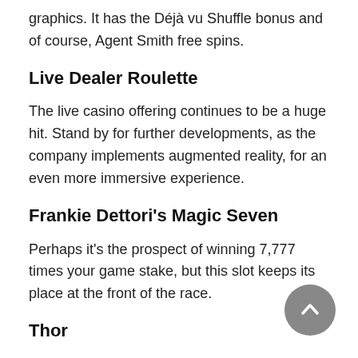graphics. It has the Déjà vu Shuffle bonus and of course, Agent Smith free spins.
Live Dealer Roulette
The live casino offering continues to be a huge hit. Stand by for further developments, as the company implements augmented reality, for an even more immersive experience.
Frankie Dettori's Magic Seven
Perhaps it's the prospect of winning 7,777 times your game stake, but this slot keeps its place at the front of the race.
Thor
The legend is particularly clear and ...